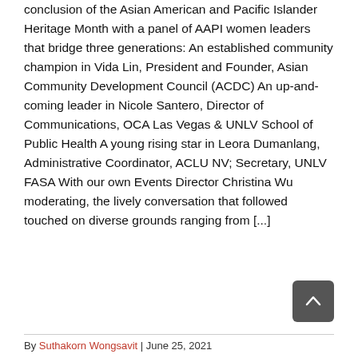conclusion of the Asian American and Pacific Islander Heritage Month with a panel of AAPI women leaders that bridge three generations: An established community champion in Vida Lin, President and Founder, Asian Community Development Council (ACDC) An up-and-coming leader in Nicole Santero, Director of Communications, OCA Las Vegas & UNLV School of Public Health A young rising star in Leora Dumanlang, Administrative Coordinator, ACLU NV; Secretary, UNLV FASA With our own Events Director Christina Wu moderating, the lively conversation that followed touched on diverse grounds ranging from [...]
By Suthakorn Wongsavit | June 25, 2021